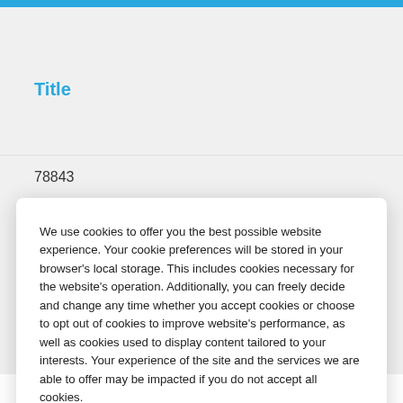Title
78843
We use cookies to offer you the best possible website experience. Your cookie preferences will be stored in your browser's local storage. This includes cookies necessary for the website's operation. Additionally, you can freely decide and change any time whether you accept cookies or choose to opt out of cookies to improve website's performance, as well as cookies used to display content tailored to your interests. Your experience of the site and the services we are able to offer may be impacted if you do not accept all cookies.
Modify Cookie Preferences
Accept All Cookies
Sr. Mgr., SAP Change, Testing & Release Management